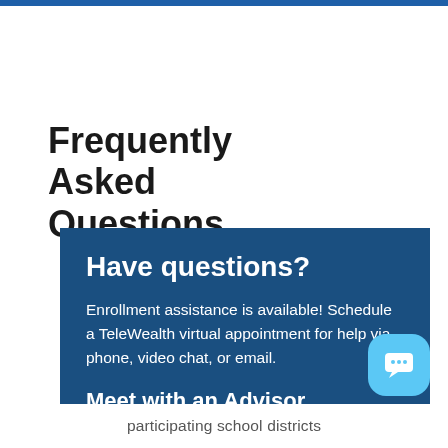Frequently Asked Questions
Have questions?
Enrollment assistance is available! Schedule a TeleWealth virtual appointment for help via phone, video chat, or email.
Meet with an Advisor
participating school districts